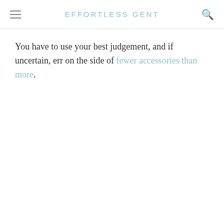EFFORTLESS GENT
You have to use your best judgement, and if uncertain, err on the side of fewer accessories than more.